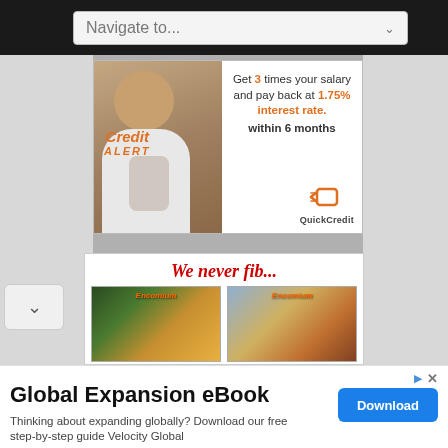Navigate to...
[Figure (photo): Credit Alert advertisement showing a woman with a tablet. Text reads: Get 3 times your salary and pay back at 1.75% interest rate. within 6 months. QuickCredit logo at bottom right.]
[Figure (photo): We never fib... advertisement showing magazine covers for Encomium magazine.]
Global Expansion eBook
Thinking about expanding globally? Download our free step-by-step guide Velocity Global
Download